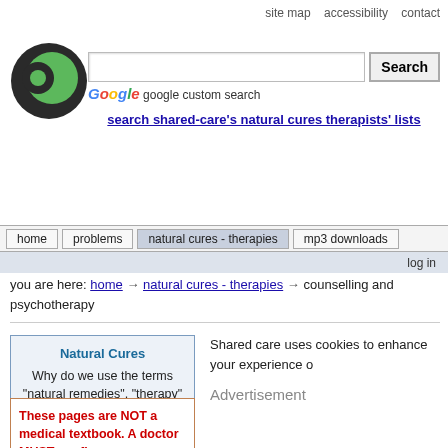site map   accessibility   contact
[Figure (logo): Shared-care website logo, black and green circular icon]
Google google custom search
search shared-care's natural cures therapists' lists
home | problems | natural cures - therapies | mp3 downloads | log in
you are here: home → natural cures - therapies → counselling and psychotherapy
Natural Cures
Why do we use the terms "natural remedies", "therapy" and "natural cure" interchangeably? Find out more here!
Shared care uses cookies to enhance your experience o
Advertisement
These pages are NOT a medical textbook. A doctor MUST confirm